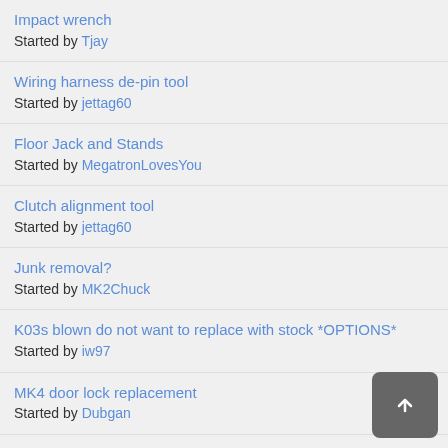Impact wrench
Started by Tjay
Wiring harness de-pin tool
Started by jettag60
Floor Jack and Stands
Started by MegatronLovesYou
Clutch alignment tool
Started by jettag60
Junk removal?
Started by MK2Chuck
K03s blown do not want to replace with stock *OPTIONS*
Started by iw97
MK4 door lock replacement
Started by Dubgan
Where to buy LED headlight bulbs?
Started by mikeonfire